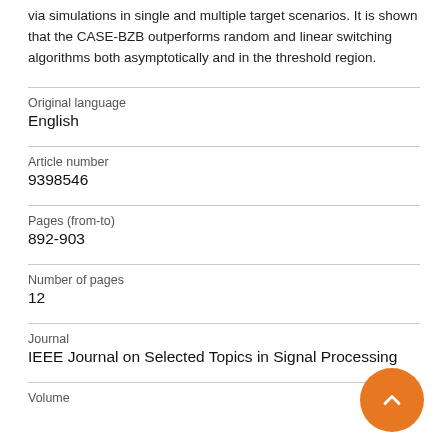via simulations in single and multiple target scenarios. It is shown that the CASE-BZB outperforms random and linear switching algorithms both asymptotically and in the threshold region.
| Original language | English |
| Article number | 9398546 |
| Pages (from-to) | 892-903 |
| Number of pages | 12 |
| Journal | IEEE Journal on Selected Topics in Signal Processing |
| Volume |  |